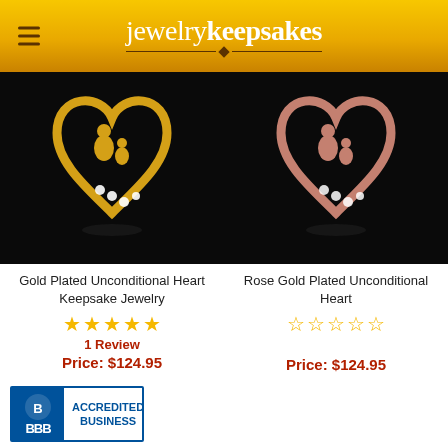jewelrykeepsakes
[Figure (photo): Gold Plated Unconditional Heart Keepsake Jewelry pendant on black background]
[Figure (photo): Rose Gold Plated Unconditional Heart pendant on black background]
Gold Plated Unconditional Heart Keepsake Jewelry
Rose Gold Plated Unconditional Heart
★★★★★ (5 stars filled)
☆☆☆☆☆ (0 stars filled)
1 Review
Price: $124.95
Price: $124.95
[Figure (logo): BBB Accredited Business badge]